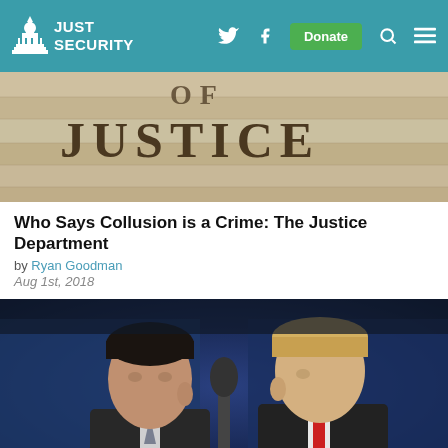JUST SECURITY — Navigation bar with logo, Twitter, Facebook, Donate, Search, Menu
[Figure (photo): Stone wall engraving showing the word JUSTICE (partial text visible above), Department of Justice building facade]
Who Says Collusion is a Crime: The Justice Department
by Ryan Goodman
Aug 1st, 2018
[Figure (photo): Two men in suits facing each other — likely Donald Trump Jr. on the left and Donald Trump on the right — at what appears to be a debate or political event with blue background]
Mueller's Choice of Criminal Charges: Why the Trump Team Should Be Very Worried
by Sam Berger